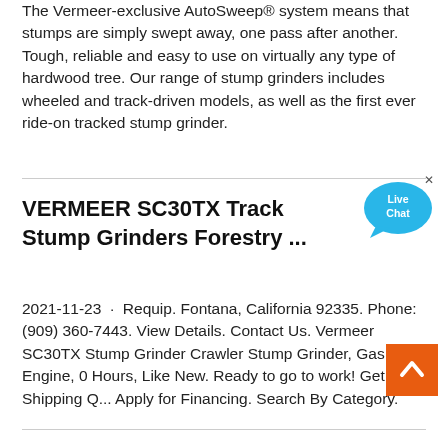The Vermeer-exclusive AutoSweep® system means that stumps are simply swept away, one pass after another. Tough, reliable and easy to use on virtually any type of hardwood tree. Our range of stump grinders includes wheeled and track-driven models, as well as the first ever ride-on tracked stump grinder.
[Figure (illustration): Live Chat button with blue speech bubble icon in top right area]
VERMEER SC30TX Track Stump Grinders Forestry ...
2021-11-23 · Requip. Fontana, California 92335. Phone: (909) 360-7443. View Details. Contact Us. Vermeer SC30TX Stump Grinder Crawler Stump Grinder, Gas, New Engine, 0 Hours, Like New. Ready to go to work! Get Shipping Q... Apply for Financing. Search By Category.
[Figure (illustration): Orange scroll-to-top button with upward chevron arrow]